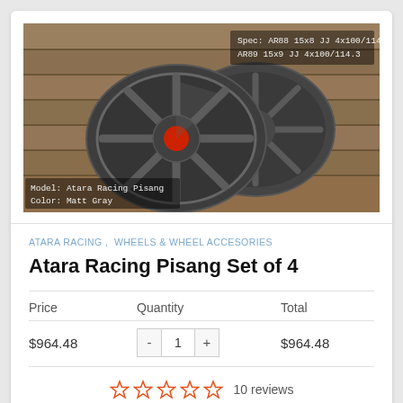[Figure (photo): Two dark matte gray Atara Racing Pisang alloy wheels displayed on wooden boards. Text overlay in upper right: 'Spec: AR88 15x8 JJ 4x100/114.3 / AR89 15x9 JJ 4x100/114.3'. Text overlay in lower left: 'Model: Atara Racing Pisang / Color: Matt Gray']
ATARA RACING ,  WHEELS & WHEEL ACCESORIES
Atara Racing Pisang Set of 4
| Price | Quantity | Total |
| --- | --- | --- |
| $964.48 | 1 | $964.48 |
10 reviews
Information ▾